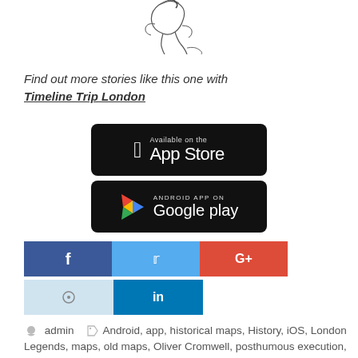[Figure (illustration): Partial illustration of a historical figure, cropped at top]
Find out more stories like this one with Timeline Trip London
[Figure (screenshot): App Store download badge (black, Apple logo)]
[Figure (screenshot): Google Play Android App On badge (black)]
[Figure (infographic): Social sharing buttons: Facebook, Twitter, Google+, circle, LinkedIn]
admin  Android, app, historical maps, History, iOS, London Legends, maps, old maps, Oliver Cromwell, posthumous execution, The Great Fire, Timeline Trip London, Timeline Trip